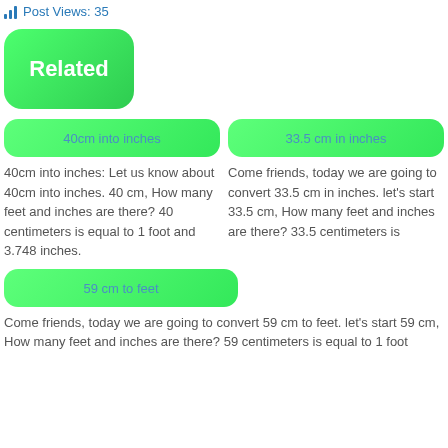Post Views: 35
Related
40cm into inches
40cm into inches: Let us know about 40cm into inches. 40 cm, How many feet and inches are there? 40 centimeters is equal to 1 foot and 3.748 inches.
33.5 cm in inches
Come friends, today we are going to convert 33.5 cm in inches. let's start 33.5 cm, How many feet and inches are there? 33.5 centimeters is
59 cm to feet
Come friends, today we are going to convert 59 cm to feet. let's start 59 cm, How many feet and inches are there? 59 centimeters is equal to 1 foot